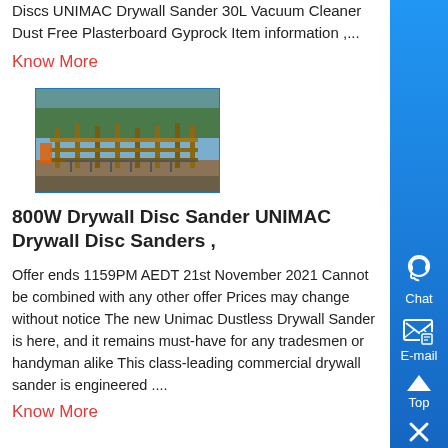Discs UNIMAC Drywall Sander 30L Vacuum Cleaner Dust Free Plasterboard Gyprock Item information ,...
Know More
[Figure (photo): Construction site photo showing wooden formwork/scaffolding for a foundation or slab, with trees in background]
800W Drywall Disc Sander UNIMAC Drywall Disc Sanders ,
Offer ends 1159PM AEDT 21st November 2021 Cannot be combined with any other offer Prices may change without notice The new Unimac Dustless Drywall Sander is here, and it remains must-have for any tradesmen or handyman alike This class-leading commercial drywall sander is engineered ....
Know More